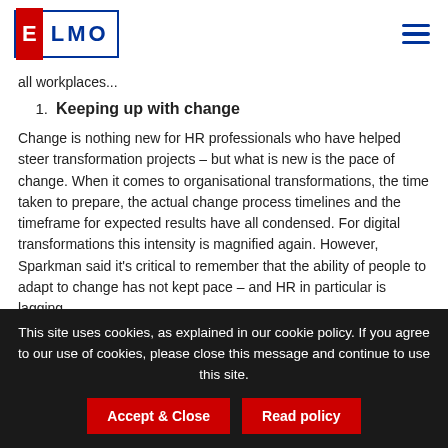ELMO
all workplaces...
1. Keeping up with change
Change is nothing new for HR professionals who have helped steer transformation projects – but what is new is the pace of change. When it comes to organisational transformations, the time taken to prepare, the actual change process timelines and the timeframe for expected results have all condensed. For digital transformations this intensity is magnified again. However, Sparkman said it's critical to remember that the ability of people to adapt to change has not kept pace – and HR in particular is lagging.
This site uses cookies, as explained in our cookie policy. If you agree to our use of cookies, please close this message and continue to use this site.